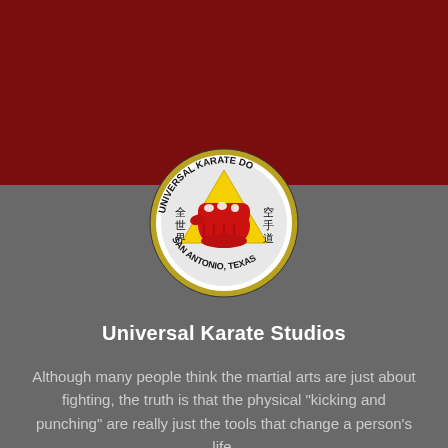[Figure (logo): Universal Karate Do logo: circular emblem with a red fist over a yellow triangle, Chinese/Japanese characters on sides, text 'UNIVERSAL KARATE DO' arced at top and 'SAN ANTONIO, TEXAS' arced at bottom, olive/dark yellow border ring]
Universal Karate Studios
Although many people think the martial arts are just about fighting, the truth is that the physical "kicking and punching" are really just the tools that change a person's life.